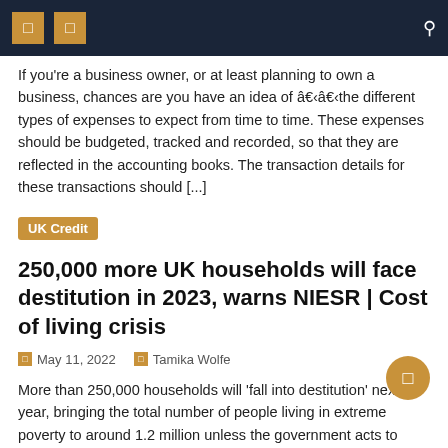Navigation bar with icons and search
If you're a business owner, or at least planning to own a business, chances are you have an idea of â€‹â€‹the different types of expenses to expect from time to time. These expenses should be budgeted, tracked and recorded, so that they are reflected in the accounting books. The transaction details for these transactions should [...]
UK Credit
250,000 more UK households will face destitution in 2023, warns NIESR | Cost of living crisis
May 11, 2022   Tamika Wolfe
More than 250,000 households will 'fall into destitution' next year, bringing the total number of people living in extreme poverty to around 1.2 million unless the government acts to